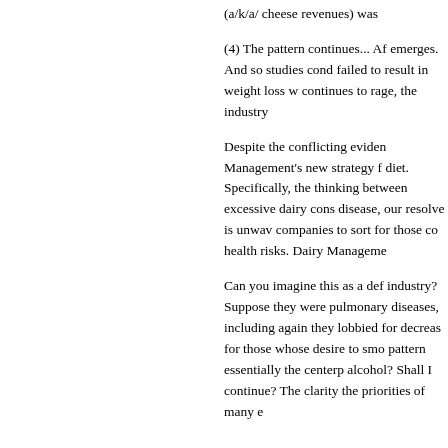(a/k/a/ cheese revenues) was
(4) The pattern continues... Af emerges. And so studies cond failed to result in weight loss w continues to rage, the industry
Despite the conflicting eviden Management's new strategy f diet. Specifically, the thinking between excessive dairy cons disease, our resolve is unwav companies to sort for those co health risks. Dairy Manageme
Can you imagine this as a def industry? Suppose they were pulmonary diseases, including again they lobbied for decreas for those whose desire to smo pattern essentially the centerp alcohol? Shall I continue? The clarity the priorities of many e